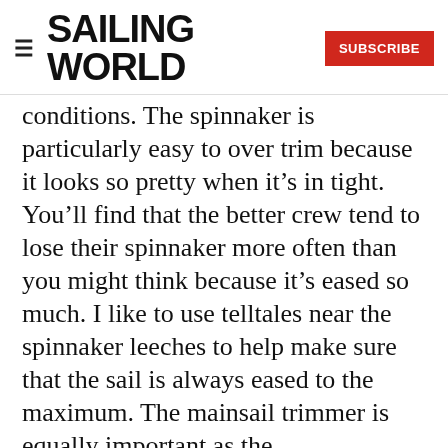SAILING WORLD | SUBSCRIBE
conditions. The spinnaker is particularly easy to over trim because it looks so pretty when it’s in tight. You’ll find that the better crew tend to lose their spinnaker more often than you might think because it’s eased so much. I like to use telltales near the spinnaker leeches to help make sure that the sail is always eased to the maximum. The mainsail trimmer is equally important as the
spinnaker trimmer, and he’s usually right next to the helmsman, so there should be